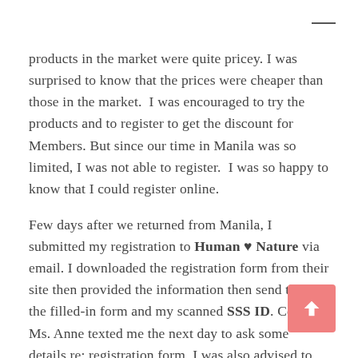products in the market were quite pricey. I was surprised to know that the prices were cheaper than those in the market.  I was encouraged to try the products and to register to get the discount for Members. But since our time in Manila was so limited, I was not able to register.  I was so happy to know that I could register online.
Few days after we returned from Manila, I submitted my registration to Human ♥ Nature via email. I downloaded the registration form from their site then provided the information then send them the filled-in form and my scanned SSS ID. Certain Ms. Anne texted me the next day to ask some details re: registration form. I was also advised to check my email. I received an email in